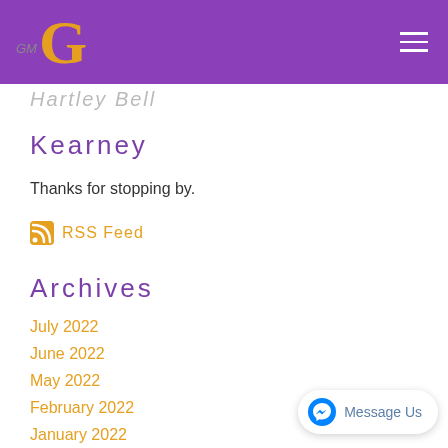GMG logo and navigation header with purple background
Hartley Bell (partial, cut off at top)
Kearney
Thanks for stopping by.
RSS Feed
Archives
July 2022
June 2022
May 2022
February 2022
January 2022
December 2021